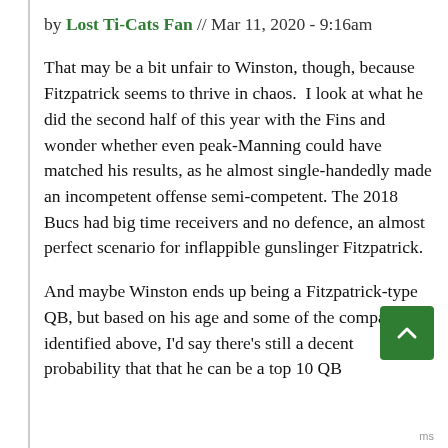by Lost Ti-Cats Fan // Mar 11, 2020 - 9:16am
That may be a bit unfair to Winston, though, because Fitzpatrick seems to thrive in chaos.  I look at what he did the second half of this year with the Fins and wonder whether even peak-Manning could have matched his results, as he almost single-handedly made an incompetent offense semi-competent.  The 2018 Bucs had big time receivers and no defence, an almost perfect scenario for inflappible gunslinger Fitzpatrick.
And maybe Winston ends up being a Fitzpatrick-type QB, but based on his age and some of the comparables identified above, I'd say there's still a decent probability that that he can be a top 10 QB